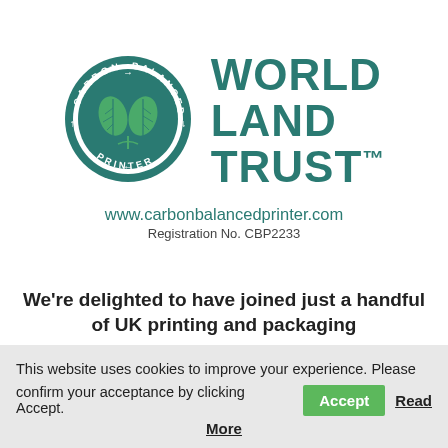[Figure (logo): World Land Trust Carbon Balanced Printer circular logo with leaf imagery in teal/green color]
WORLD LAND TRUST™
www.carbonbalancedprinter.com
Registration No. CBP2233
We're delighted to have joined just a handful of UK printing and packaging
This website uses cookies to improve your experience. Please confirm your acceptance by clicking Accept. Accept Read More